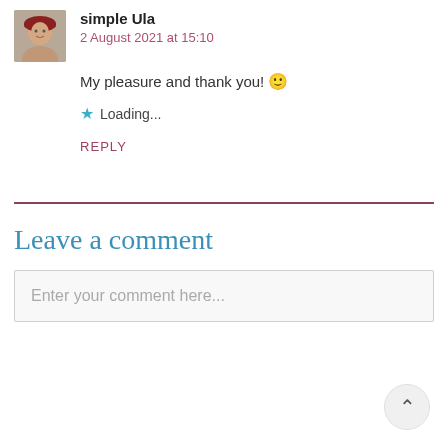[Figure (photo): Avatar photo of a woman wearing a red hat]
simple Ula
2 August 2021 at 15:10
My pleasure and thank you! 🙂
★ Loading...
REPLY
Leave a comment
Enter your comment here...